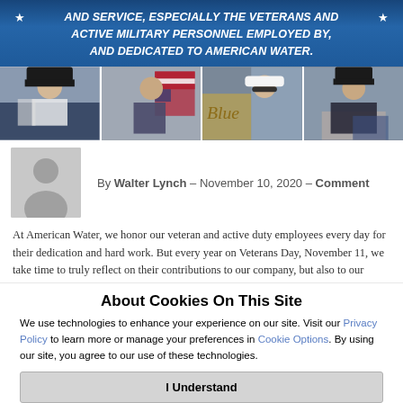[Figure (photo): Blue gradient banner with white bold italic text: AND SERVICE, ESPECIALLY THE VETERANS AND ACTIVE MILITARY PERSONNEL EMPLOYED BY, AND DEDICATED TO AMERICAN WATER. Stars on left and right.]
[Figure (photo): Photo strip showing four military personnel portraits side by side.]
By Walter Lynch – November 10, 2020 – Comment
At American Water, we honor our veteran and active duty employees every day for their dedication and hard work. But every year on Veterans Day, November 11, we take time to truly reflect on their contributions to our company, but also to our
About Cookies On This Site
We use technologies to enhance your experience on our site. Visit our Privacy Policy to learn more or manage your preferences in Cookie Options. By using our site, you agree to our use of these technologies.
I Understand
Cookie Options